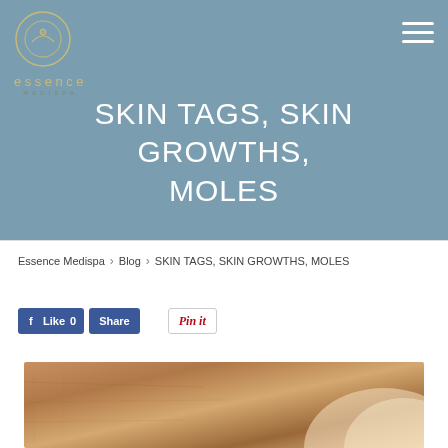[Figure (logo): Essence Medispa logo with circular emblem and stylized text]
[Figure (other): Hamburger menu icon (three horizontal lines) in top right corner]
SKIN TAGS, SKIN GROWTHS, MOLES
Essence Medispa > Blog > SKIN TAGS, SKIN GROWTHS, MOLES
[Figure (other): Facebook Like button showing Like 0 and Share buttons, plus Pinterest Pin it button]
[Figure (photo): Close-up photograph of human skin showing skin texture]